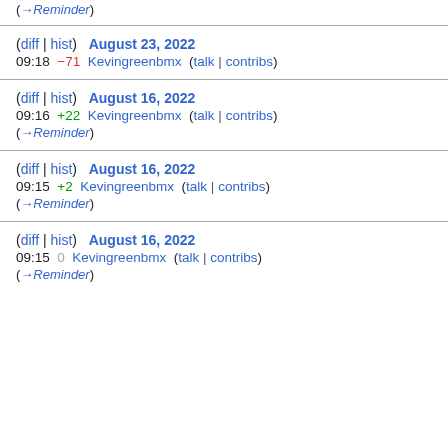(→Reminder)
(diff | hist)  August 23, 2022
09:18  −71  Kevingreenbmx  (talk | contribs)
(diff | hist)  August 16, 2022
09:16  +22  Kevingreenbmx  (talk | contribs)
(→Reminder)
(diff | hist)  August 16, 2022
09:15  +2  Kevingreenbmx  (talk | contribs)
(→Reminder)
(diff | hist)  August 16, 2022
09:15  0  Kevingreenbmx  (talk | contribs)
(→Reminder)